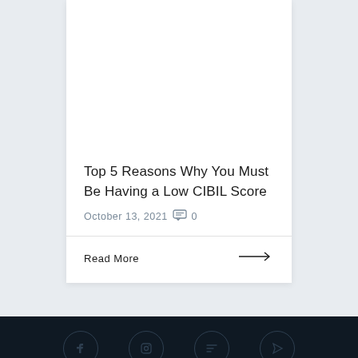Top 5 Reasons Why You Must Be Having a Low CIBIL Score
October 13, 2021  0
Read More